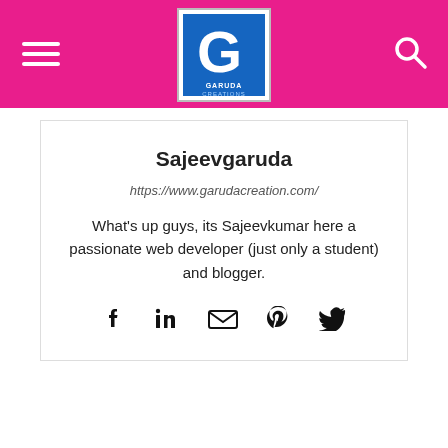Sajeevgaruda / Garuda Creations header navigation
Sajeevgaruda
https://www.garudacreation.com/
What's up guys, its Sajeevkumar here a passionate web developer (just only a student) and blogger.
[Figure (other): Social media icons: Facebook, LinkedIn, email/link, Pinterest, Twitter]